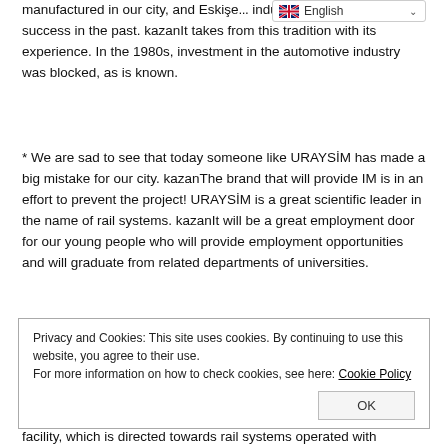'Karakurt' and our first domestic car manufactured in our city, and Eskişehir industry reflects its current success in the past. kazanIt takes from this tradition with its experience. In the 1980s, investment in the automotive industry was blocked, as is known.
* We are sad to see that today someone like URAYSİM has made a big mistake for our city. kazanThe brand that will provide IM is in an effort to prevent the project! URAYSİM is a great scientific leader in the name of rail systems. kazanIt will be a great employment door for our young people who will provide employment opportunities and will graduate from related departments of universities.
Privacy and Cookies: This site uses cookies. By continuing to use this website, you agree to their use.
For more information on how to check cookies, see here: Cookie Policy
facility, which is directed towards rail systems operated with